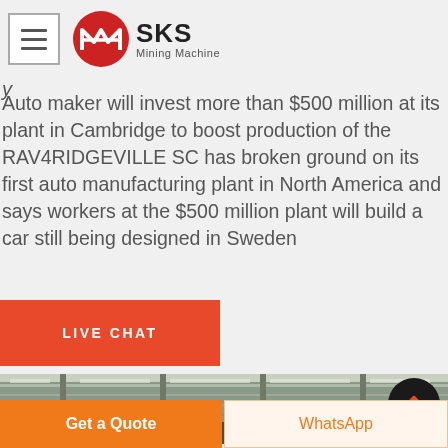SKS Mining Machine
Auto maker will invest more than $500 million at its plant in Cambridge to boost production of the RAV4RIDGEVILLE SC has broken ground on its first auto manufacturing plant in North America and says workers at the $500 million plant will build a car still being designed in Sweden
[Figure (screenshot): Orange LIVE CHAT button]
[Figure (photo): Interior of a large industrial manufacturing facility with heavy machinery and overhead steel structure]
Get a Quote | WhatsApp